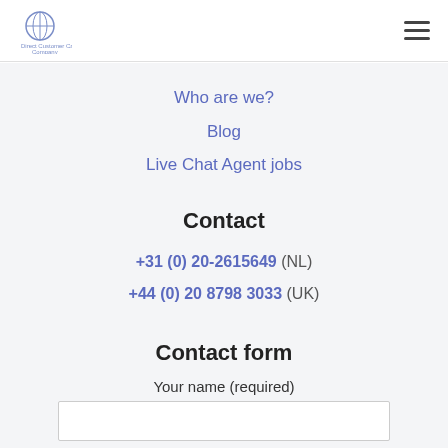Direct Customer Care Company logo and navigation hamburger menu
Who are we?
Blog
Live Chat Agent jobs
Contact
+31 (0) 20-2615649 (NL)
+44 (0) 20 8798 3033 (UK)
Contact form
Your name (required)